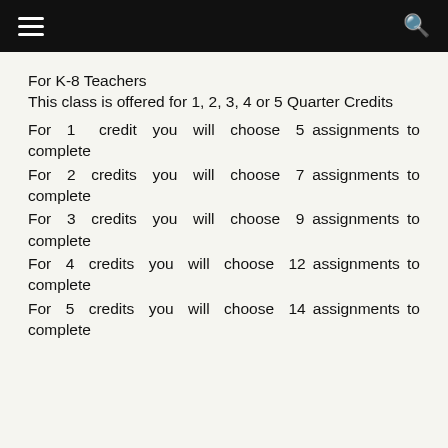≡  🔍
For K-8 Teachers
This class is offered for 1, 2, 3, 4 or 5 Quarter Credits
For 1 credit you will choose 5 assignments to complete
For 2 credits you will choose 7 assignments to complete
For 3 credits you will choose 9 assignments to complete
For 4 credits you will choose 12 assignments to complete
For 5 credits you will choose 14 assignments to complete